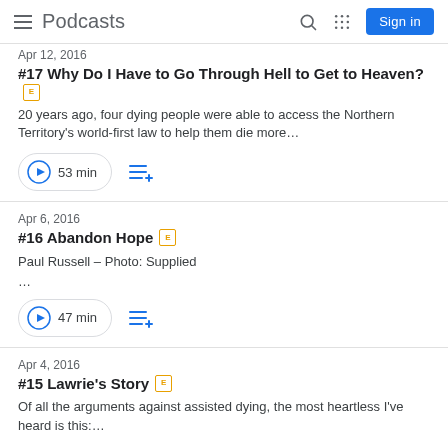Podcasts
Apr 12, 2016
#17 Why Do I Have to Go Through Hell to Get to Heaven?
20 years ago, four dying people were able to access the Northern Territory's world-first law to help them die more…
53 min
Apr 6, 2016
#16 Abandon Hope
Paul Russell – Photo: Supplied
…
47 min
Apr 4, 2016
#15 Lawrie's Story
Of all the arguments against assisted dying, the most heartless I've heard is this:…